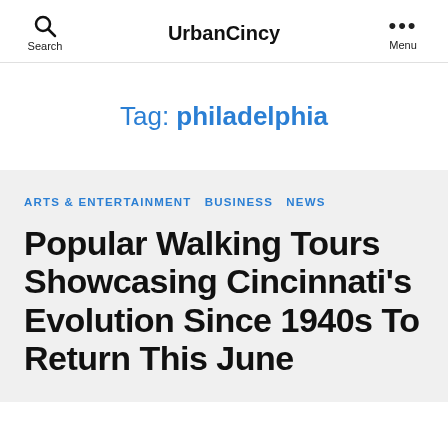Search  UrbanCincy  Menu
Tag: philadelphia
ARTS & ENTERTAINMENT  BUSINESS  NEWS
Popular Walking Tours Showcasing Cincinnati's Evolution Since 1940s To Return This June